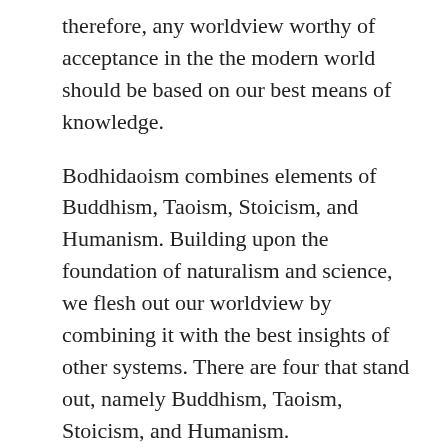therefore, any worldview worthy of acceptance in the the modern world should be based on our best means of knowledge.
Bodhidaoism combines elements of Buddhism, Taoism, Stoicism, and Humanism. Building upon the foundation of naturalism and science, we flesh out our worldview by combining it with the best insights of other systems. There are four that stand out, namely Buddhism, Taoism, Stoicism, and Humanism.
Each has its strengths and weaknesses. For example, Buddhism has many valid insights into the mind and the importance of meditation, but it also includes such unscientific doctrines as karma and rebirth. Taoism has many valid insights into